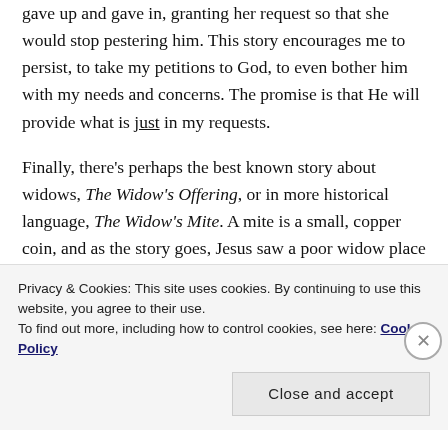gave up and gave in, granting her request so that she would stop pestering him. This story encourages me to persist, to take my petitions to God, to even bother him with my needs and concerns. The promise is that He will provide what is just in my requests.
Finally, there's perhaps the best known story about widows, The Widow's Offering, or in more historical language, The Widow's Mite. A mite is a small, copper coin, and as the story goes, Jesus saw a poor widow place two mites in an offering box alongside the rich and wealthy who were also placing their offering in the box. Jesus' commentary was not about the rich and
Privacy & Cookies: This site uses cookies. By continuing to use this website, you agree to their use.
To find out more, including how to control cookies, see here: Cookie Policy
Close and accept